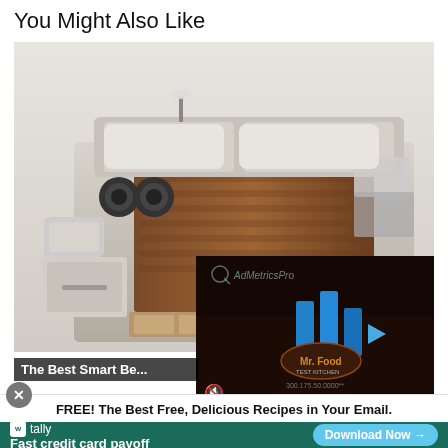You Might Also Like
[Figure (photo): A multi-functional smart bed with storage drawers, speakers, tablet arm, massage chair, and wood accents — shown from an elevated angle with compartments open.]
[Figure (screenshot): Video player overlay showing AdMetricsPro branding and Mr. Food Test Kitchen logo with play button on dark background.]
The Best Smart Be...
FREE! The Best Free, Delicious Recipes in Your Email.
[Figure (infographic): Tally app advertisement banner: 'Fast credit card payoff' with Download Now button on teal/green background.]